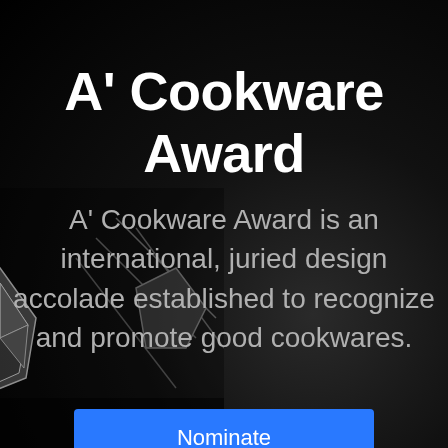A' Cookware Award
A' Cookware Award is an international, juried design accolade established to recognize and promote good cookwares.
[Figure (photo): Dark background with metallic award sculpture (geometric star-like trophy) visible in lower right]
Nominate Cookwares
View Past Cook...